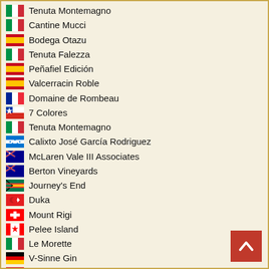Tenuta Montemagno
Cantine Mucci
Bodega Otazu
Tenuta Falezza
Peñafiel Edición
Valcerracin Roble
Domaine de Rombeau
7 Colores
Tenuta Montemagno
Calixto José García Rodriguez
McLaren Vale III Associates
Berton Vineyards
Journey's End
Duka
Mount Rigi
Pelee Island
Le Morette
V-Sinne Gin
Santa Sağlıklı Naturel Tarım Ürünleri
Kavaklidere Saraplari
Fattoria Santo Stefano